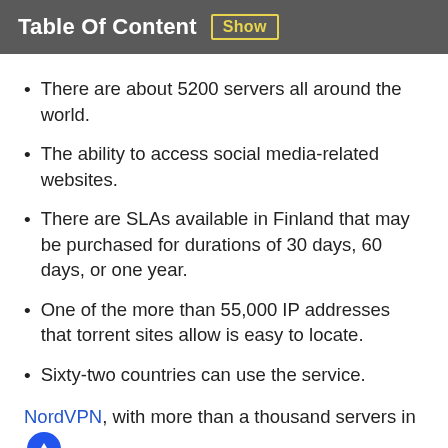Table Of Content  Show
There are about 5200 servers all around the world.
The ability to access social media-related websites.
There are SLAs available in Finland that may be purchased for durations of 30 days, 60 days, or one year.
One of the more than 55,000 IP addresses that torrent sites allow is easy to locate.
Sixty-two countries can use the service.
NordVPN, with more than a thousand servers in Finland to get a Finnish IP address in no time, it has no trouble providing enough to satisfy the demands